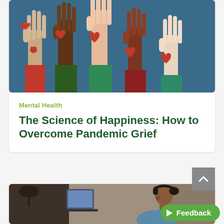[Figure (illustration): Illustration of five hands raised with hearts on the palms, against a dark teal background, showing diverse skin tones and colorful sleeve colors (red, dark green, teal, dark brown, teal).]
Mental Health
The Science of Happiness: How to Overcome Pandemic Grief
[Figure (photo): Photo of a woman wearing headphones sitting at a desk with a laptop, appearing to be on a video call. Background is blurred home office setting.]